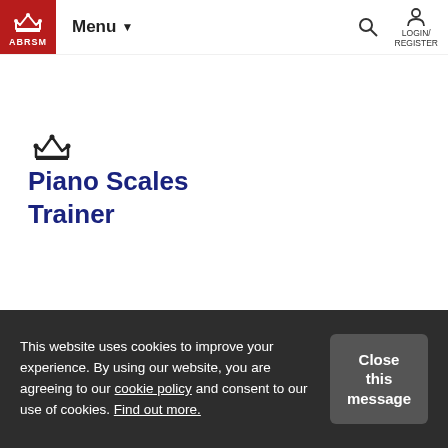ABRSM | Menu | LOGIN/REGISTER
[Figure (logo): ABRSM crown logo in content area]
Piano Scales Trainer
Exam Support
This website uses cookies to improve your experience. By using our website, you are agreeing to our cookie policy and consent to our use of cookies. Find out more.